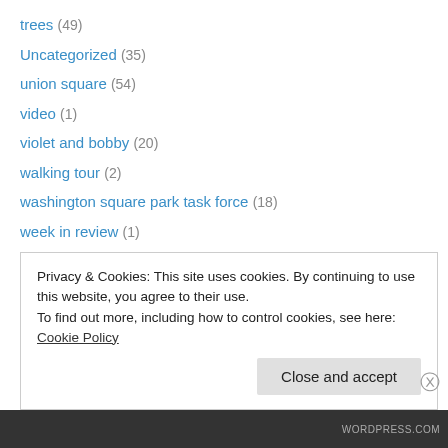trees (49)
Uncategorized (35)
union square (54)
video (1)
violet and bobby (20)
walking tour (2)
washington square park task force (18)
week in review (1)
what people are saying (26)
wikicity (1)
wildlife (27)
written about washington square (3)
wsp blog correspondence/in news (11)
Privacy & Cookies: This site uses cookies. By continuing to use this website, you agree to their use. To find out more, including how to control cookies, see here: Cookie Policy